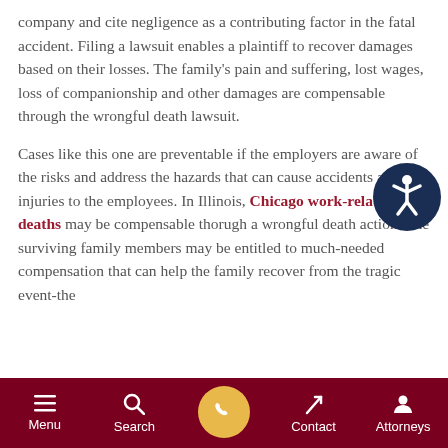company and cite negligence as a contributing factor in the fatal accident. Filing a lawsuit enables a plaintiff to recover damages based on their losses. The family's pain and suffering, lost wages, loss of companionship and other damages are compensable through the wrongful death lawsuit.
Cases like this one are preventable if the employers are aware of the risks and address the hazards that can cause accidents and injuries to the employees. In Illinois, Chicago work-related deaths may be compensable thorugh a wrongful death action. The surviving family members may be entitled to much-needed compensation that can help the family recover from the tragic event-the
[Figure (illustration): Accessibility icon: dark navy circle with a white stick figure in a wheelchair-like pose with arms outstretched]
Menu | Search | [phone button] | Contact | Attorneys